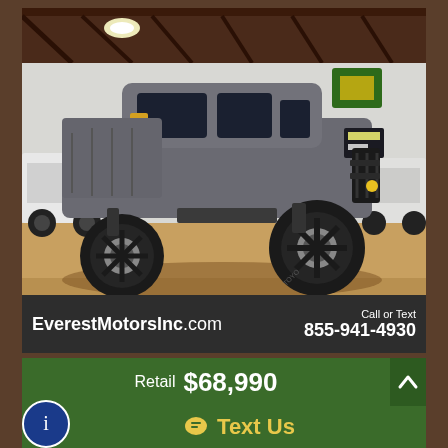[Figure (photo): A lifted gray Ford F-250 Super Duty pickup truck with large black off-road wheels, bull bar, and LED headlights, parked inside a large dealership showroom with wood-beam ceiling and other trucks visible in the background.]
EverestMotorsInc.com
Call or Text 855-941-4930
Retail $68,990
Text Us